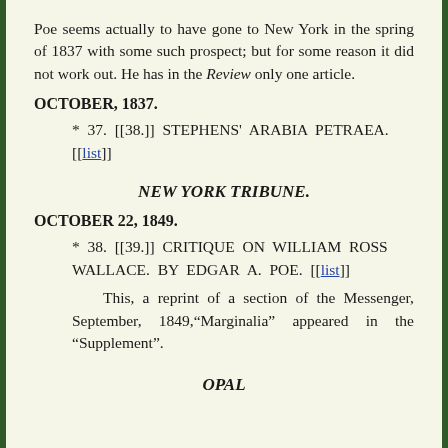Poe seems actually to have gone to New York in the spring of 1837 with some such prospect; but for some reason it did not work out. He has in the Review only one article.
OCTOBER, 1837.
* 37. [[38.]] STEPHENS' ARABIA PETRAEA. [[list]]
NEW YORK TRIBUNE.
OCTOBER 22, 1849.
* 38. [[39.]] CRITIQUE ON WILLIAM ROSS WALLACE. BY EDGAR A. POE. [[list]]
This, a reprint of a section of the Messenger, September, 1849,"Marginalia" appeared in the "Supplement".
OPAL